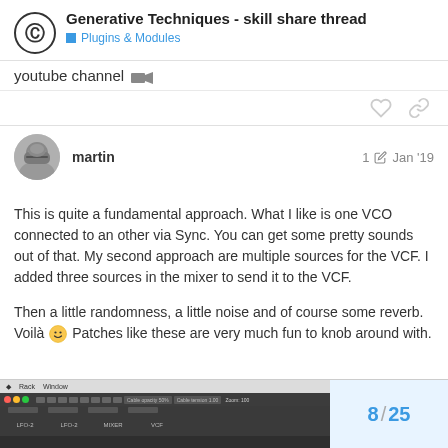Generative Techniques - skill share thread | Plugins & Modules
youtube channel 🔊
martin  1 ✏  Jan '19
This is quite a fundamental approach. What I like is one VCO connected to an other via Sync. You can get some pretty sounds out of that. My second approach are multiple sources for the VCF. I added three sources in the mixer to send it to the VCF.

Then a little randomness, a little noise and of course some reverb. Voilà 🙂 Patches like these are very much fun to knob around with.
[Figure (screenshot): Screenshot of a modular synthesizer software (Rack) showing LFO-2, LFO-2, MIXER, VCF modules in dark UI]
8 / 25